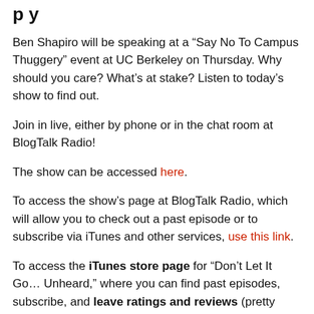p y
Ben Shapiro will be speaking at a “Say No To Campus Thuggery” event at UC Berkeley on Thursday. Why should you care? What’s at stake? Listen to today’s show to find out.
Join in live, either by phone or in the chat room at BlogTalk Radio!
The show can be accessed here.
To access the show’s page at BlogTalk Radio, which will allow you to check out a past episode or to subscribe via iTunes and other services, use this link.
To access the iTunes store page for “Don’t Let It Go… Unheard,” where you can find past episodes, subscribe, and leave ratings and reviews (pretty please!), use this